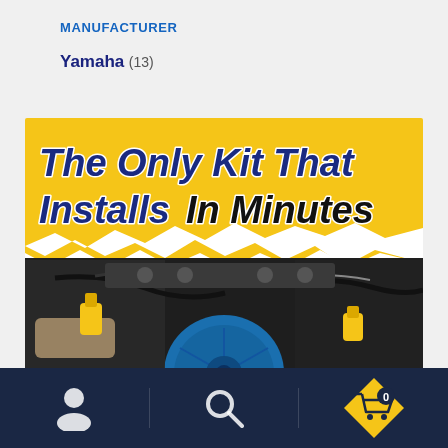MANUFACTURER
Yamaha (13)
[Figure (photo): Promotional banner reading 'The Only Kit That Installs In Minutes' with yellow background on top and a photo of hands working on a blue engine/generator with yellow connector clips below a torn paper effect]
Navigation bar with user icon, search icon, and cart icon with badge showing 0